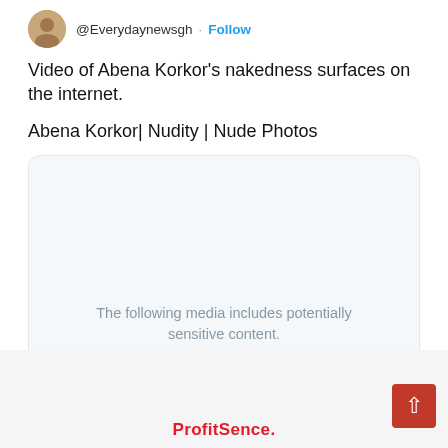@Everydaynewsgh · Follow
Video of Abena Korkor’s nakedness surfaces on the internet.
Abena Korkor| Nudity | Nude Photos
[Figure (screenshot): Twitter media warning box with grey background and rounded corners, showing text: 'The following media includes potentially sensitive content.' with a 'View' button and 'Close' button.]
ProfitSence.